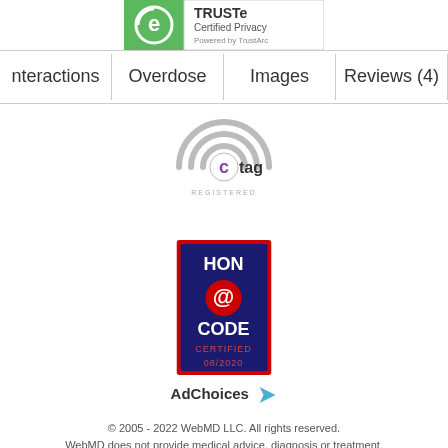[Figure (logo): TRUSTe Certified Privacy badge - green and grey logo with e symbol]
Interactions | Overdose | Images | Reviews (4)
[Figure (logo): ctag REGISTERED logo - circular signal waves around a c symbol]
[Figure (logo): HON CODE CERTIFIED 08/2020 badge - blue and red square badge]
AdChoices ▷
© 2005 - 2022 WebMD LLC. All rights reserved. WebMD does not provide medical advice, diagnosis or treatment. See additional information. ADVERTISEMENT